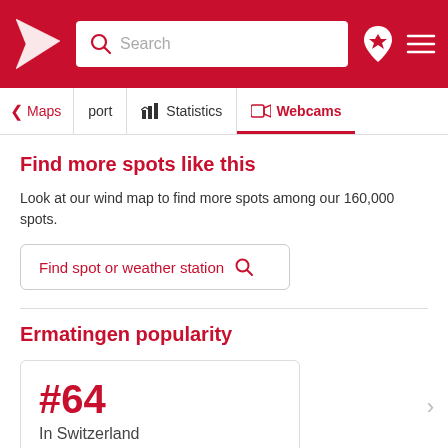Search
Maps | port | Statistics | Webcams
Find more spots like this
Look at our wind map to find more spots among our 160,000 spots.
Find spot or weather station
Ermatingen popularity
#64
In Switzerland